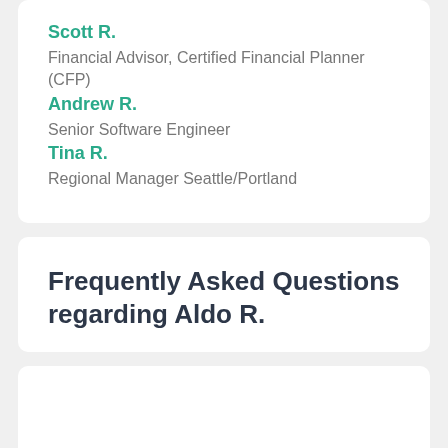Scott R.
Financial Advisor, Certified Financial Planner (CFP)
Andrew R.
Senior Software Engineer
Tina R.
Regional Manager Seattle/Portland
Frequently Asked Questions regarding Aldo R.